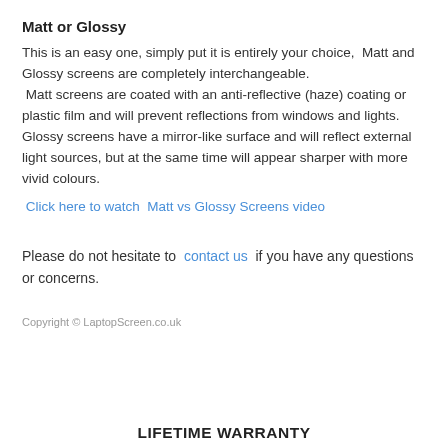Matt or Glossy
This is an easy one, simply put it is entirely your choice,  Matt and Glossy screens are completely interchangeable.
 Matt screens are coated with an anti-reflective (haze) coating or plastic film and will prevent reflections from windows and lights. Glossy screens have a mirror-like surface and will reflect external light sources, but at the same time will appear sharper with more vivid colours.
Click here to watch  Matt vs Glossy Screens video
Please do not hesitate to  contact us  if you have any questions or concerns.
Copyright © LaptopScreen.co.uk
LIFETIME WARRANTY